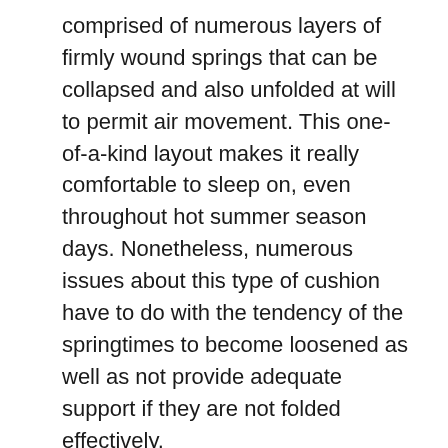comprised of numerous layers of firmly wound springs that can be collapsed and also unfolded at will to permit air movement. This one-of-a-kind layout makes it really comfortable to sleep on, even throughout hot summer season days. Nonetheless, numerous issues about this type of cushion have to do with the tendency of the springtimes to become loosened as well as not provide adequate support if they are not folded effectively.
A Layla crossbreed memory foam mattress evaluation would also state the fact that this sort of cushion is readily available with either a polyurethane cover or a natural/paperboard cover. Normally, several customers really feel extra comfy buying a cover over the initial foam that is consisted of with the acquisition of the